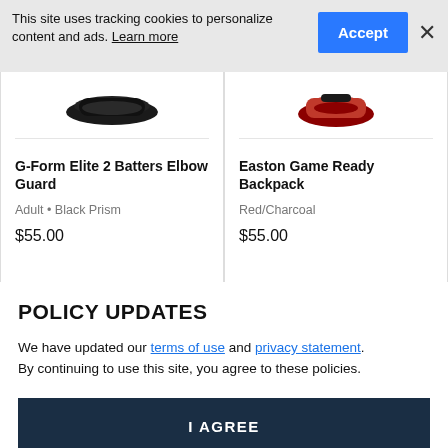This site uses tracking cookies to personalize content and ads. Learn more
[Figure (screenshot): Cookie consent banner with Accept button and close X button]
[Figure (illustration): G-Form Elite 2 Batters Elbow Guard product image - black helmet-like elbow guard]
G-Form Elite 2 Batters Elbow Guard
Adult • Black Prism
$55.00
[Figure (illustration): Easton Game Ready Backpack product image - red and black backpack]
Easton Game Ready Backpack
Red/Charcoal
$55.00
POLICY UPDATES
We have updated our terms of use and privacy statement. By continuing to use this site, you agree to these policies.
I AGREE